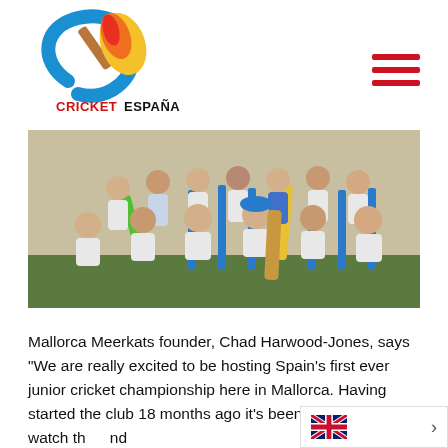[Figure (logo): Cricket España logo — circular design with blue swoosh, cricket bat, flame/yellow shape, and red text 'CRICKET ESPAÑA']
[Figure (photo): Group photo of junior cricket players (youth boys) posing outdoors with cricket bats and blue stumps/wickets on a grass/hard court surface]
Mallorca Meerkats founder, Chad Harwood-Jones, says "We are really excited to be hosting Spain's first ever junior cricket championship here in Mallorca. Having started the club 18 months ago it's been fantastic to watch th… nd